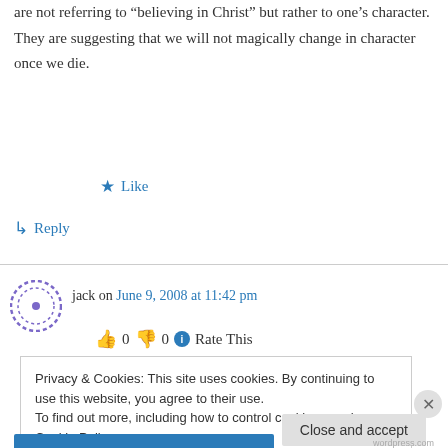are not referring to “believing in Christ” but rather to one’s character. They are suggesting that we will not magically change in character once we die.
★ Like
↳ Reply
jack on June 9, 2008 at 11:42 pm
👍 0 👎 0 ⓘ Rate This
Privacy & Cookies: This site uses cookies. By continuing to use this website, you agree to their use.
To find out more, including how to control cookies, see here: Cookie Policy
Close and accept